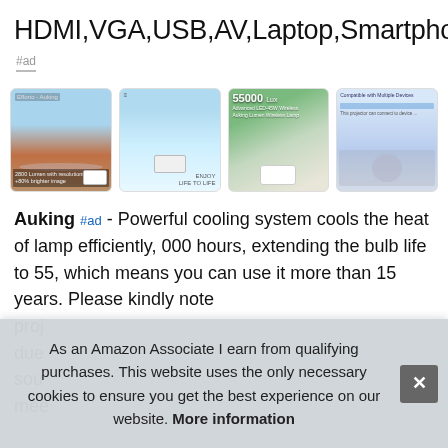HDMI,VGA,USB,AV,Laptop,Smartphone
#ad
[Figure (photo): Strip of four product images for a projector: landscape projection, room projection, projector with 55000 hour label, projector with compatible devices]
Auking #ad - Powerful cooling system cools the heat of lamp efficiently, 000 hours, extending the bulb life to 55, which means you can use it more than 15 years. Please kindly note proj due sou mee
As an Amazon Associate I earn from qualifying purchases. This website uses the only necessary cookies to ensure you get the best experience on our website. More information